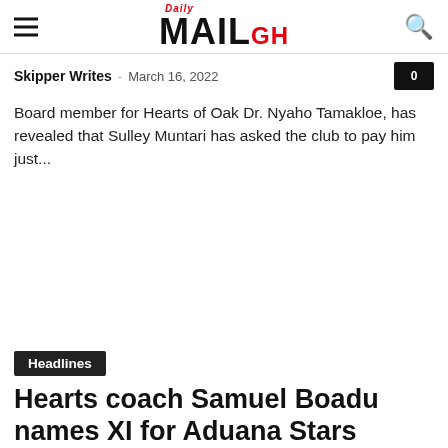Daily MAILGH
Skipper Writes - March 16, 2022
Board member for Hearts of Oak Dr. Nyaho Tamakloe, has revealed that Sulley Muntari has asked the club to pay him just...
Headlines
Hearts coach Samuel Boadu names XI for Aduana Stars game, no...
Skipper Writes - March 13, 2022